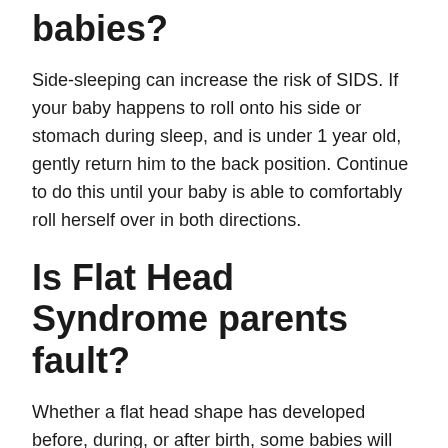babies?
Side-sleeping can increase the risk of SIDS. If your baby happens to roll onto his side or stomach during sleep, and is under 1 year old, gently return him to the back position. Continue to do this until your baby is able to comfortably roll herself over in both directions.
Is Flat Head Syndrome parents fault?
Whether a flat head shape has developed before, during, or after birth, some babies will still develop the condition. This is through no fault of the parent and really